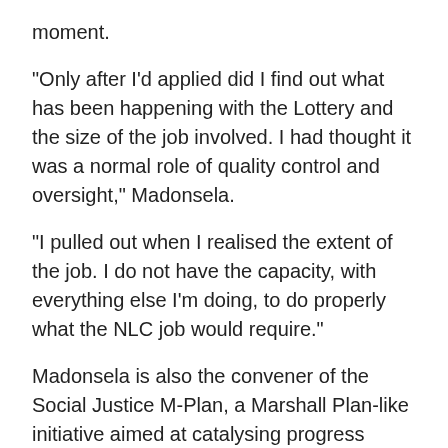moment.
“Only after I’d applied did I find out what has been happening with the Lottery and the size of the job involved. I had thought it was a normal role of quality control and oversight,” Madonsela.
“I pulled out when I realised the extent of the job. I do not have the capacity, with everything else I’m doing, to do properly what the NLC job would require.”
Madonsela is also the convener of the Social Justice M-Plan, a Marshall Plan-like initiative aimed at catalysing progress towards ending poverty and reducing inequality by 2030.
The opinion by Parliament’s chief legal advisor Z. Adhikari found that based on the Lotteries Act “it appears that the shortlisting process is the